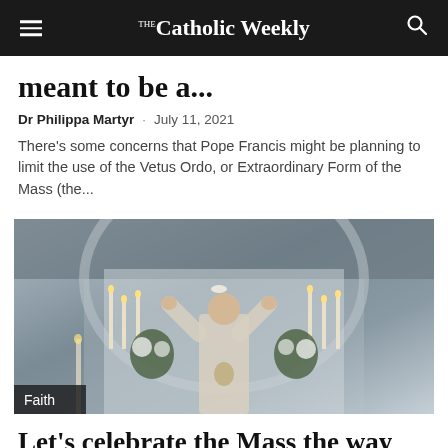The Catholic Weekly
meant to be a...
Dr Philippa Martyr · July 11, 2021
There's some concerns that Pope Francis might be planning to limit the use of the Vetus Ordo, or Extraordinary Form of the Mass (the...
[Figure (photo): A priest celebrating Mass at an ornate altar, raising the consecrated host, with tall candles and floral arrangements in the background. A 'Faith' badge appears in the lower left corner.]
Let's celebrate the Mass the way Vatican II wanted